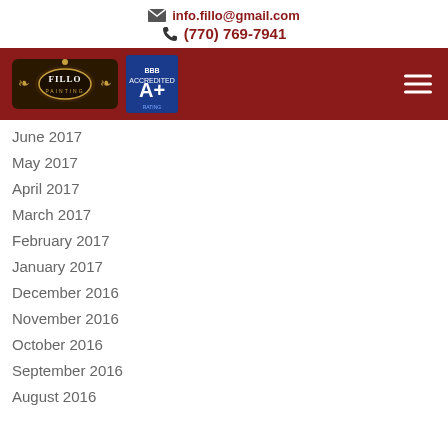info.fillo@gmail.com  (770) 769-7941
[Figure (logo): Fillo Painting logo and BBB A+ rating badge on dark red navigation bar]
June 2017
May 2017
April 2017
March 2017
February 2017
January 2017
December 2016
November 2016
October 2016
September 2016
August 2016